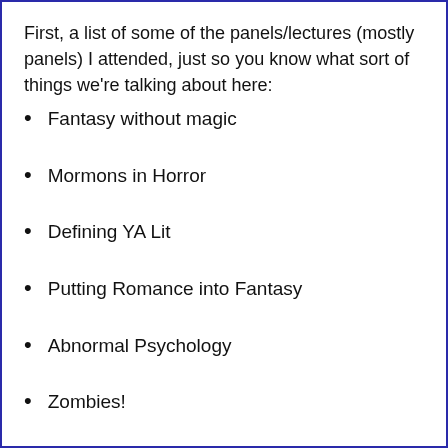First, a list of some of the panels/lectures (mostly panels) I attended, just so you know what sort of things we're talking about here:
Fantasy without magic
Mormons in Horror
Defining YA Lit
Putting Romance into Fantasy
Abnormal Psychology
Zombies!
Building Different Cultures